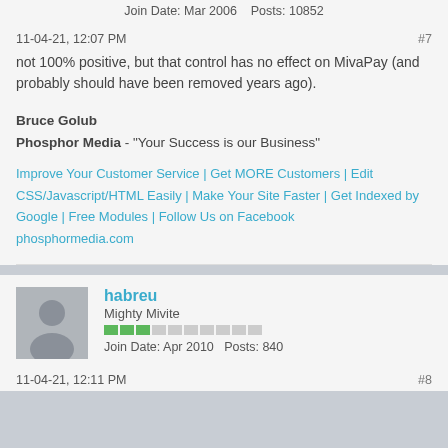Join Date: Mar 2006    Posts: 10852
11-04-21, 12:07 PM    #7
not 100% positive, but that control has no effect on MivaPay (and probably should have been removed years ago).
Bruce Golub
Phosphor Media - "Your Success is our Business"
Improve Your Customer Service | Get MORE Customers | Edit CSS/Javascript/HTML Easily | Make Your Site Faster | Get Indexed by Google | Free Modules | Follow Us on Facebook
phosphormedia.com
habreu
Mighty Mivite
Join Date: Apr 2010    Posts: 840
11-04-21, 12:11 PM    #8